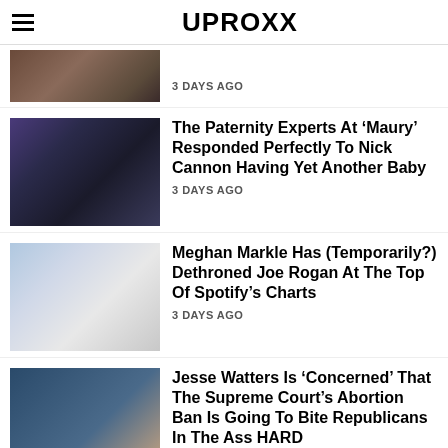UPROXX
3 DAYS AGO
The Paternity Experts At ‘Maury’ Responded Perfectly To Nick Cannon Having Yet Another Baby
3 DAYS AGO
Meghan Markle Has (Temporarily?) Dethroned Joe Rogan At The Top Of Spotify’s Charts
3 DAYS AGO
Jesse Watters Is ‘Concerned’ That The Supreme Court’s Abortion Ban Is Going To Bite Republicans In The Ass HARD